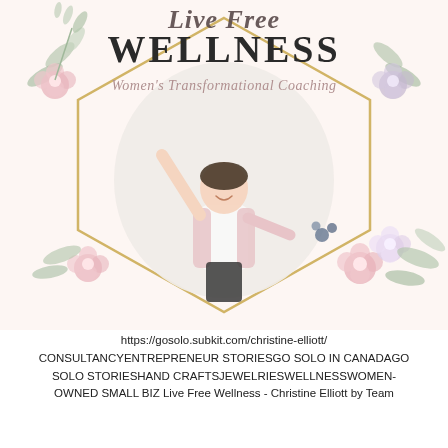[Figure (illustration): Live Free Wellness branding image with script and bold text logo, 'Women's Transformational Coaching' subtitle, a woman with arms raised in a circle, floral decorations (pink and mauve flowers, leaves), and a gold geometric hexagonal frame.]
https://gosolo.subkit.com/christine-elliott/ CONSULTANCYENTREPRENEUR STORIESGO SOLO IN CANADAGO SOLO STORIESHAND CRAFTSJEWELRIESWELLNESSWOMEN-OWNED SMALL BIZ Live Free Wellness - Christine Elliott by Team